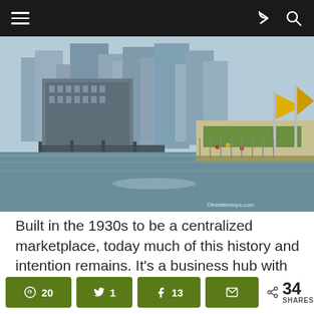Navigation bar with menu, share, and search icons
[Figure (photo): Aerial/river-level view of Chicago skyline along the river, showing large buildings, a drawbridge, a riverwalk promenade with yellow flags, and greenery. Watermark: ©thislifeintrips.com]
Built in the 1930s to be a centralized marketplace, today much of this history and intention remains. It's a business hub with tech and Fortune 500 companies taking up office space there. If you take the Chicago First Lady Architecturenight night tour, you can enjoy a part of the Art on the Mart, a video display
20 (Pinterest) | 1 (Twitter) | 13 (Facebook) | Email | 34 SHARES